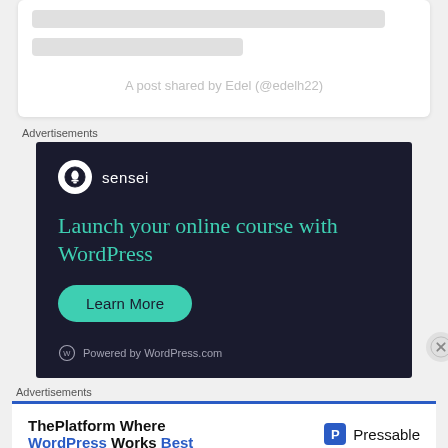A post shared by Edel (@edelh22)
Advertisements
[Figure (screenshot): Sensei advertisement banner on dark navy background showing logo, headline 'Launch your online course with WordPress', a 'Learn More' button, and 'Powered by WordPress.com' footer]
Advertisements
[Figure (screenshot): Pressable advertisement banner showing 'ThePlatform Where WordPress Works Best' with Pressable logo on right]